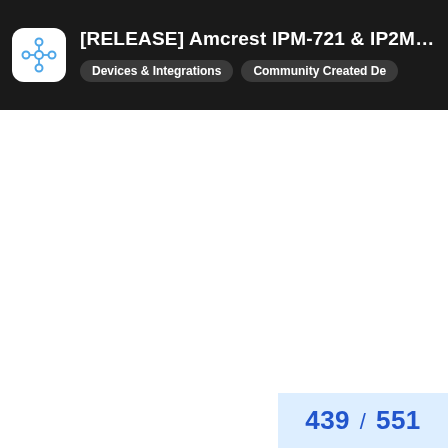[RELEASE] Amcrest IPM-721 & IP2M-841 LIVE Vi... | Devices & Integrations | Community Created De
439 / 551